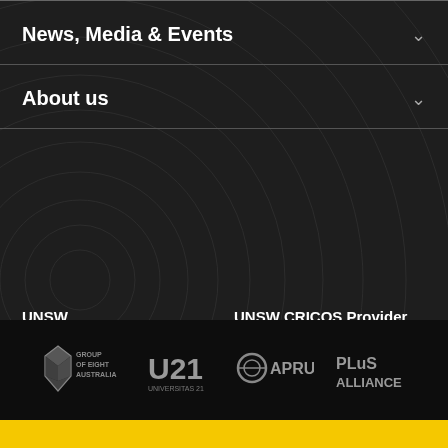News, Media & Events
About us
UNSW
Sydney NSW 2052 Australia
Telephone: +61 2 93851000
UNSW CRICOS Provider
Code: 00098G
TEQSA Provider ID: PRV12055
ABN: 57 195 873 179
[Figure (logo): Group of Eight Australia logo with diamond/gem geometric shape]
[Figure (logo): U21 Universitas 21 logo]
[Figure (logo): APRU logo with circular ring design]
[Figure (logo): PLuS Alliance logo]